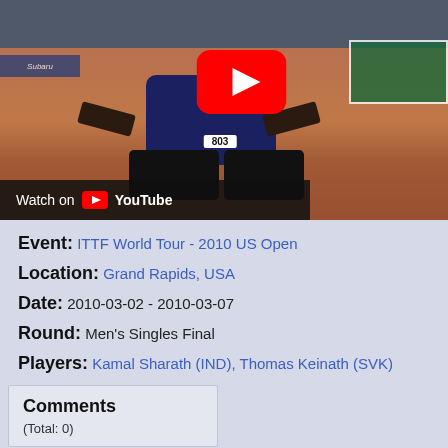[Figure (screenshot): YouTube video thumbnail showing a table tennis player from behind wearing a JOOLA jersey with number 803, crouching at a table tennis match. A YouTube play button is overlaid in the center. At the bottom left a 'Watch on YouTube' bar is shown. The background shows a table tennis arena with crowd and tables.]
Event: ITTF World Tour - 2010 US Open
Location: Grand Rapids, USA
Date: 2010-03-02 - 2010-03-07
Round: Men's Singles Final
Players: Kamal Sharath (IND), Thomas Keinath (SVK)
Comments
(Total: 0)